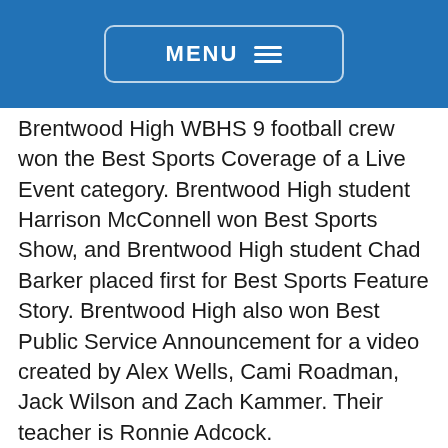MENU
Brentwood High WBHS 9 football crew won the Best Sports Coverage of a Live Event category. Brentwood High student Harrison McConnell won Best Sports Show, and Brentwood High student Chad Barker placed first for Best Sports Feature Story. Brentwood High also won Best Public Service Announcement for a video created by Alex Wells, Cami Roadman, Jack Wilson and Zach Kammer. Their teacher is Ronnie Adcock.
Franklin High's Christian Ward won Best Commercial at the THSPA Awards. His teacher is Keri Thompson.
Independence High's Harrison Kyle and Gabe Hall placed first for Best Commercial, and their classmates Bradley Hicks and Sam Wilde won Best Sports Video. Their teacher is Matt Balzer.